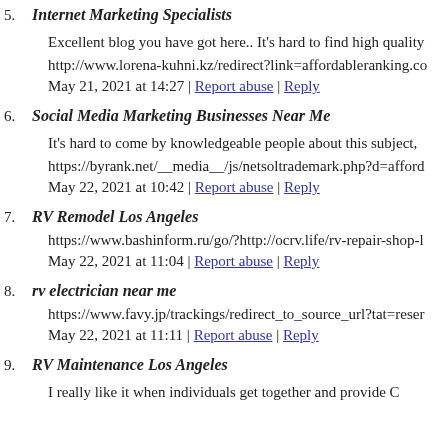5. Internet Marketing Specialists
Excellent blog you have got here.. It’s hard to find high quality
http://www.lorena-kuhni.kz/redirect?link=affordableranking.co
May 21, 2021 at 14:27 | Report abuse | Reply
6. Social Media Marketing Businesses Near Me
It’s hard to come by knowledgeable people about this subject,
https://byrank.net/__media__/js/netsoltrademark.php?d=afford
May 22, 2021 at 10:42 | Report abuse | Reply
7. RV Remodel Los Angeles
https://www.bashinform.ru/go/?http://ocrv.life/rv-repair-shop-l
May 22, 2021 at 11:04 | Report abuse | Reply
8. rv electrician near me
https://www.favy.jp/trackings/redirect_to_source_url?tat=reser
May 22, 2021 at 11:11 | Report abuse | Reply
9. RV Maintenance Los Angeles
I really like it when individuals get together and provide C